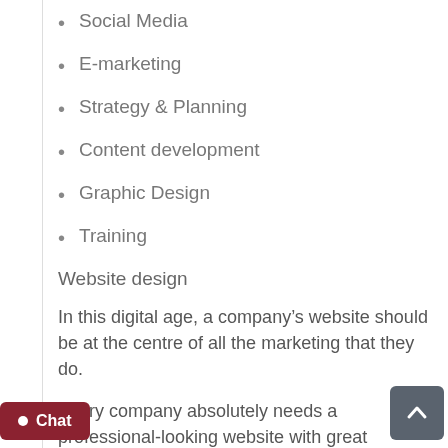Social Media
E-marketing
Strategy & Planning
Content development
Graphic Design
Training
Website design
In this digital age, a company's website should be at the centre of all the marketing that they do.
Every company absolutely needs a professional-looking website with great content that will inspire the viewer with inbuilt systems that deliver new leads regula